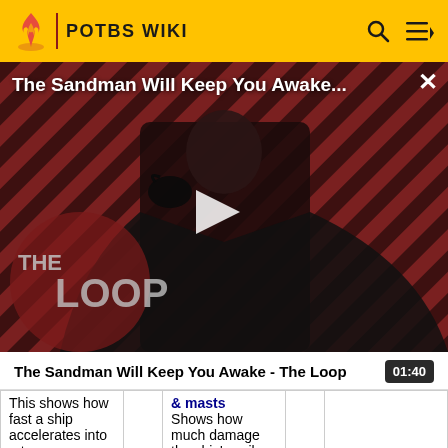POTBS WIKI
[Figure (screenshot): Video thumbnail for 'The Sandman Will Keep You Awake... The Loop' showing a dark figure in a black cape against a red and black diagonal stripe background, with 'THE LOOP' text overlay and a play button in the center.]
The Sandman Will Keep You Awake - The Loop
01:40
| This shows how fast a ship accelerates into a turn. |  | & masts
Shows how much damage the ship's sails |  |  |